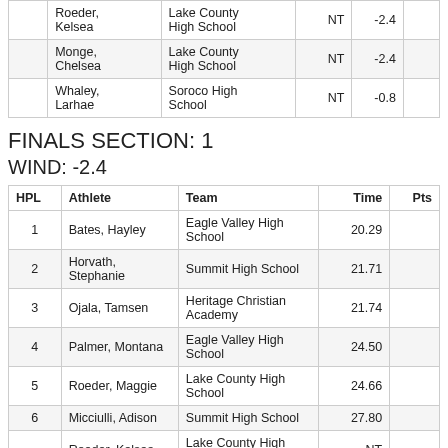|  | Athlete | Team | Time |  |  |
| --- | --- | --- | --- | --- | --- |
|  | Roeder, Kelsea | Lake County High School | NT | -2.4 |  |
|  | Monge, Chelsea | Lake County High School | NT | -2.4 |  |
|  | Whaley, Larhae | Soroco High School | NT | -0.8 |  |
FINALS SECTION: 1
WIND: -2.4
| HPL | Athlete | Team | Time | Pts |
| --- | --- | --- | --- | --- |
| 1 | Bates, Hayley | Eagle Valley High School | 20.29 |  |
| 2 | Horvath, Stephanie | Summit High School | 21.71 |  |
| 3 | Ojala, Tamsen | Heritage Christian Academy | 21.74 |  |
| 4 | Palmer, Montana | Eagle Valley High School | 24.50 |  |
| 5 | Roeder, Maggie | Lake County High School | 24.66 |  |
| 6 | Micciulli, Adison | Summit High School | 27.80 |  |
|  | Roeder, Kelsea | Lake County High School | NT |  |
|  | Monge, Chelsea | Lake County High School | NT |  |